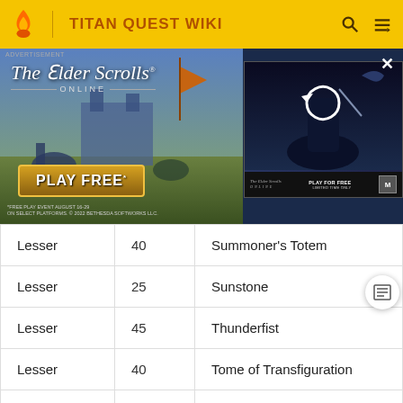TITAN QUEST WIKI
[Figure (screenshot): Advertisement banner for The Elder Scrolls Online game, showing 'PLAY FREE' button with fantasy battle scene on the left, and a dark game scene with refresh icon on the right.]
|  |  |  |
| --- | --- | --- |
| Lesser | 40 | Summoner's Totem |
| Lesser | 25 | Sunstone |
| Lesser | 45 | Thunderfist |
| Lesser | 40 | Tome of Transfiguration |
| Lesser | 45 | Tongue of Flame |
| Lesser | 15 | Touch of the Fool |